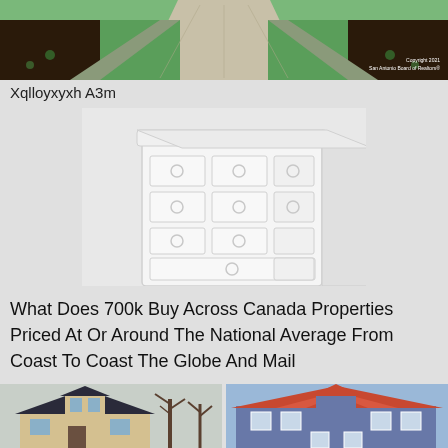[Figure (photo): Aerial view of a landscaped walkway with green grass and dark mulch garden beds on either side, with a concrete path in the center. Copyright 2021 San Antonio Board of Realtors watermark in bottom right.]
Xqlloyxyxh A3m
[Figure (photo): White chest of drawers / dresser with multiple drawers and circular ring handles, shown on a light gray background.]
What Does 700k Buy Across Canada Properties Priced At Or Around The National Average From Coast To Coast The Globe And Mail
[Figure (photo): Two house photos side by side: left shows a small gray/dark roofed house with dormers and bare trees; right shows a Victorian-style house with a red roof and blue/gray siding.]